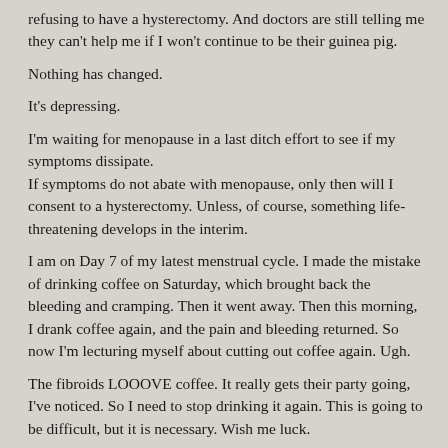refusing to have a hysterectomy. And doctors are still telling me they can't help me if I won't continue to be their guinea pig.
Nothing has changed.
It's depressing.
I'm waiting for menopause in a last ditch effort to see if my symptoms dissipate.
If symptoms do not abate with menopause, only then will I consent to a hysterectomy. Unless, of course, something life-threatening develops in the interim.
I am on Day 7 of my latest menstrual cycle. I made the mistake of drinking coffee on Saturday, which brought back the bleeding and cramping. Then it went away. Then this morning, I drank coffee again, and the pain and bleeding returned. So now I'm lecturing myself about cutting out coffee again. Ugh.
The fibroids LOOOVE coffee. It really gets their party going, I've noticed. So I need to stop drinking it again. This is going to be difficult, but it is necessary. Wish me luck.
While we're on the topic of cutting out fun stuff from one's diet, let me just state for the record that cutting down on or cutting out